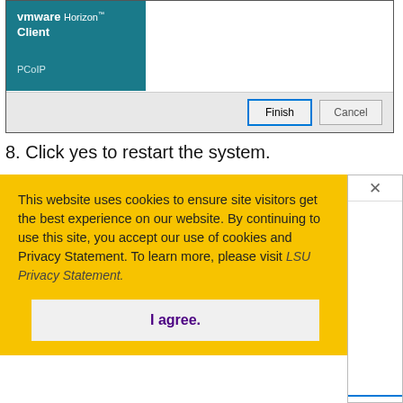[Figure (screenshot): VMware Horizon Client installation dialog showing teal sidebar with VMware Horizon Client logo and PCoIP text, with Finish and Cancel buttons at the bottom]
8. Click yes to restart the system.
[Figure (screenshot): Cookie consent overlay on a yellow background with text: 'This website uses cookies to ensure site visitors get the best experience on our website. By continuing to use this site, you accept our use of cookies and Privacy Statement. To learn more, please visit LSU Privacy Statement.' and an 'I agree.' button]
This website uses cookies to ensure site visitors get the best experience on our website. By continuing to use this site, you accept our use of cookies and Privacy Statement. To learn more, please visit LSU Privacy Statement.
I agree.